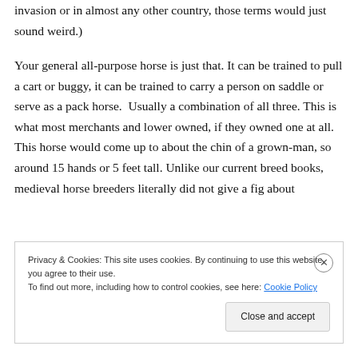invasion or in almost any other country, those terms would just sound weird.)

Your general all-purpose horse is just that. It can be trained to pull a cart or buggy, it can be trained to carry a person on saddle or serve as a pack horse.  Usually a combination of all three. This is what most merchants and lower owned, if they owned one at all. This horse would come up to about the chin of a grown-man, so around 15 hands or 5 feet tall. Unlike our current breed books, medieval horse breeders literally did not give a fig about
Privacy & Cookies: This site uses cookies. By continuing to use this website, you agree to their use.
To find out more, including how to control cookies, see here: Cookie Policy